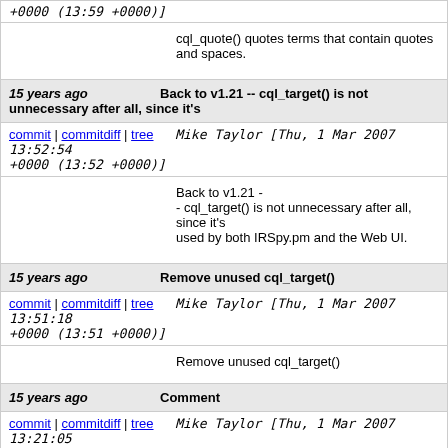+0000 (13:59 +0000)]
cql_quote() quotes terms that contain quotes and spaces.
15 years ago   Back to v1.21 -- cql_target() is not unnecessary after all, since it's
commit | commitdiff | tree   Mike Taylor [Thu, 1 Mar 2007 13:52:54 +0000 (13:52 +0000)]
Back to v1.21 -
- cql_target() is not unnecessary after all, since it's used by both IRSpy.pm and the Web UI.
15 years ago   Remove unused cql_target()
commit | commitdiff | tree   Mike Taylor [Thu, 1 Mar 2007 13:51:18 +0000 (13:51 +0000)]
Remove unused cql_target()
15 years ago   Comment
commit | commitdiff | tree   Mike Taylor [Thu, 1 Mar 2007 13:21:05 +0000 (13:21 +0000)]
Comment